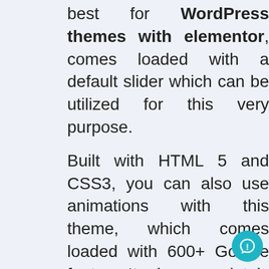best for WordPress themes with elementor, comes loaded with a default slider which can be utilized for this very purpose.
Built with HTML 5 and CSS3, you can also use animations with this theme, which comes loaded with 600+ Google fonts. It is completely customizable and is 100% responsive but more importantly, it also comes with over 100+ short codes that you can use to tweak your website to perfection.
The nivo slider comes with 12 animation controls as well as pause and other features but as this theme